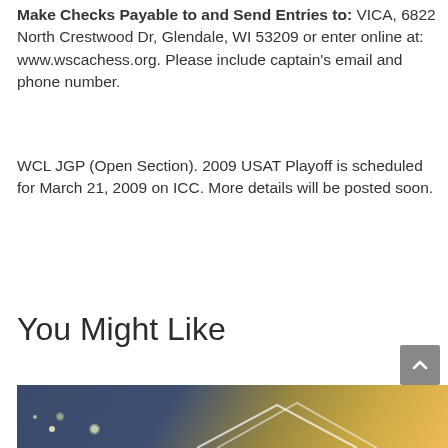Make Checks Payable to and Send Entries to: VICA, 6822 North Crestwood Dr, Glendale, WI 53209 or enter online at: www.wscachess.org. Please include captain's email and phone number.
WCL JGP (Open Section). 2009 USAT Playoff is scheduled for March 21, 2009 on ICC. More details will be posted soon.
You Might Like
NEWS
[Figure (photo): Partial view of a photo showing lights and geometric shapes on a dark blue/gold background, partially cropped at the bottom of the page.]